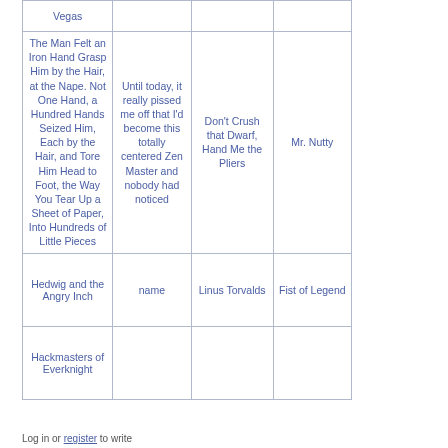| Vegas |  |  |  |
| The Man Felt an Iron Hand Grasp Him by the Hair, at the Nape. Not One Hand, a Hundred Hands Seized Him, Each by the Hair, and Tore Him Head to Foot, the Way You Tear Up a Sheet of Paper, Into Hundreds of Little Pieces | Until today, it really pissed me off that I'd become this totally centered Zen Master and nobody had noticed | Don't Crush that Dwarf, Hand Me the Pliers | Mr. Nutty |
| Hedwig and the Angry Inch | name | Linus Torvalds | Fist of Legend |
| Hackmasters of Everknight |  |  |  |
Log in or register to write